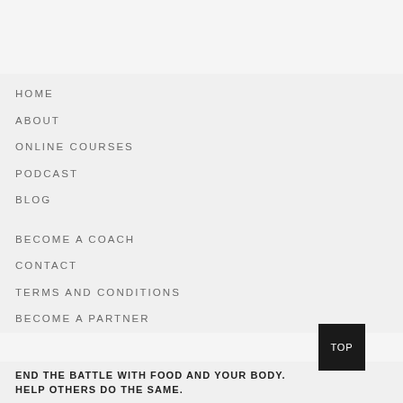HOME
ABOUT
ONLINE COURSES
PODCAST
BLOG
BECOME A COACH
CONTACT
TERMS AND CONDITIONS
BECOME A PARTNER
END THE BATTLE WITH FOOD AND YOUR BODY. HELP OTHERS DO THE SAME.